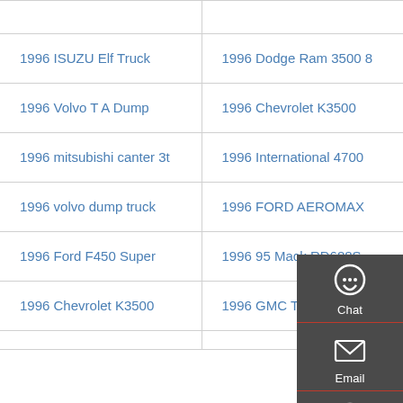1996 ISUZU Elf Truck
1996 Dodge Ram 3500 8
1996 Volvo T A Dump
1996 Chevrolet K3500
1996 mitsubishi canter 3t
1996 International 4700
1996 volvo dump truck
1996 FORD AEROMAX
1996 Ford F450 Super
1996 95 Mack RD688S
1996 Chevrolet K3500
1996 GMC TopKick
[Figure (infographic): Floating contact widget panel with Chat, Email, Contact, and Top buttons with icons on dark grey background]